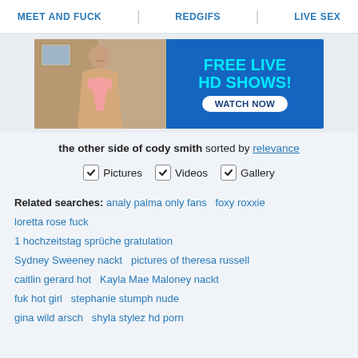MEET AND FUCK   REDGIFS   LIVE SEX
[Figure (photo): Advertisement banner showing a woman and text 'FREE LIVE HD SHOWS! WATCH NOW' on blue background]
the other side of cody smith sorted by relevance
✓ Pictures   ✓ Videos   ✓ Gallery
Related searches: analy palma only fans   foxy roxxie   loretta rose fuck   1 hochzeitstag sprüche gratulation   Sydney Sweeney nackt   pictures of theresa russell   caitlin gerard hot   Kayla Mae Maloney nackt   fuk hot girl   stephanie stumph nude   gina wild arsch   shyla stylez hd porn